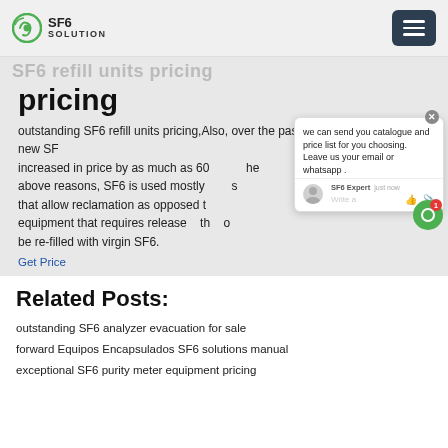SF6 SOLUTION
pricing
outstanding SF6 refill units pricing,Also, over the past year or so, the price of new SF6 increased in price by as much as 60 the above reasons, SF6 is used mostly s that allow reclamation as opposed t equipment that requires release th o be re-filled with virgin SF6.
Get Price
Related Posts:
outstanding SF6 analyzer evacuation for sale
forward Equipos Encapsulados SF6 solutions manual
exceptional SF6 purity meter equipment pricing